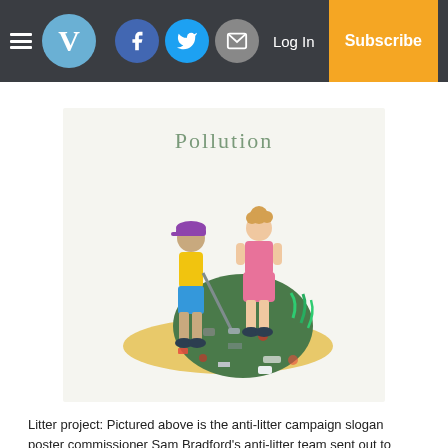V — Log In — Subscribe
[Figure (illustration): Anti-litter campaign poster illustration titled 'Pollution' showing two cartoon figures — one in yellow shirt and blue shorts holding a litter-picker stick, and one in a pink top — standing near a large pile of litter on sandy ground with grass]
Litter project: Pictured above is the anti-litter campaign slogan poster commissioner Sam Bradford's anti-litter team sent out to area schools. Photo contributed.